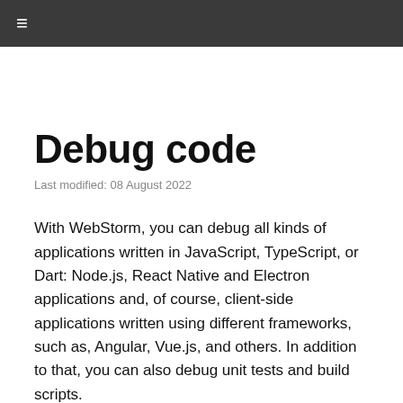≡
Debug code
Last modified: 08 August 2022
With WebStorm, you can debug all kinds of applications written in JavaScript, TypeScript, or Dart: Node.js, React Native and Electron applications and, of course, client-side applications written using different frameworks, such as, Angular, Vue.js, and others. In addition to that, you can also debug unit tests and build scripts.